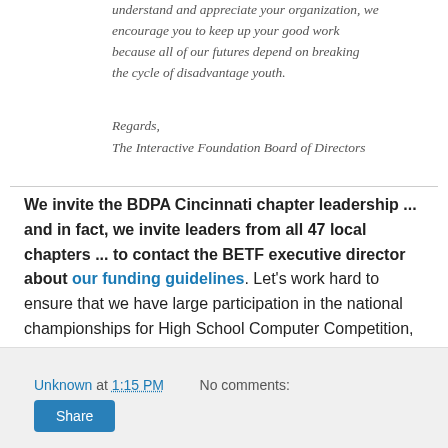understand and appreciate your organization, we encourage you to keep up your good work because all of our futures depend on breaking the cycle of disadvantage youth.
Regards,
The Interactive Foundation Board of Directors
We invite the BDPA Cincinnati chapter leadership ... and in fact, we invite leaders from all 47 local chapters ... to contact the BETF executive director about our funding guidelines. Let’s work hard to ensure that we have large participation in the national championships for High School Computer Competition, IT Showcase and Mobile Application Showcase.
Unknown at 1:15 PM   No comments:
Share